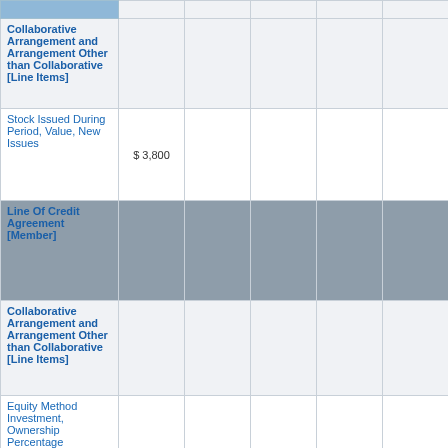|  |  |  |  |  |  |
| --- | --- | --- | --- | --- | --- |
| Collaborative Arrangement and Arrangement Other than Collaborative [Line Items] |  |  |  |  |  |
| Stock Issued During Period, Value, New Issues | $ 3,800 |  |  |  |  |
| Line Of Credit Agreement [Member] |  |  |  |  |  |
| Collaborative Arrangement and Arrangement Other than Collaborative [Line Items] |  |  |  |  |  |
| Equity Method Investment, Ownership Percentage |  |  |  |  |  |